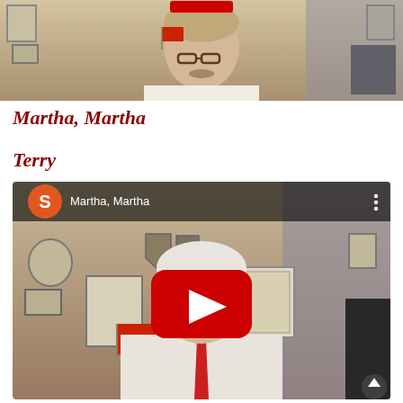[Figure (screenshot): Video thumbnail showing an older man with white hair and glasses in an office with framed certificates and plaques on the wall. A red bar overlay appears at the top center of the video frame.]
Martha, Martha
Terry
[Figure (screenshot): YouTube video player showing a man with white hair and glasses speaking in front of a wall of framed certificates, military plaques and shields. The video title bar shows 'Martha, Martha' with an orange S avatar icon. A red YouTube play button is overlaid in the center. Three-dot menu appears in upper right.]